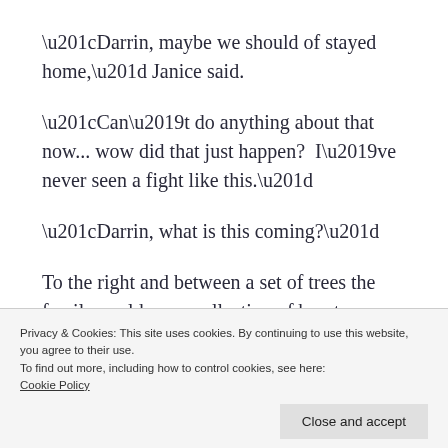“Darrin, maybe we should of stayed home,” Janice said.
“Can’t do anything about that now... wow did that just happen?  I’ve never seen a fight like this.”
“Darrin, what is this coming?”
To the right and between a set of trees the family could see a collection of beasts
Privacy & Cookies: This site uses cookies. By continuing to use this website, you agree to their use.
To find out more, including how to control cookies, see here:
Cookie Policy
Close and accept